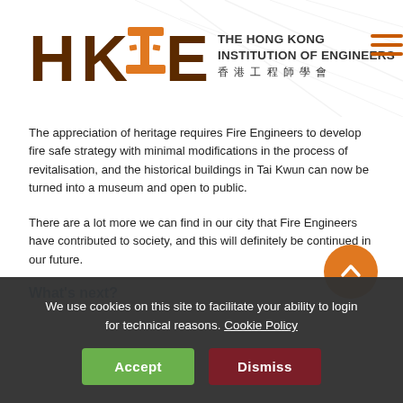[Figure (logo): HKIE logo — Hong Kong Institution of Engineers with Chinese characters 香港工程師學會]
The appreciation of heritage requires Fire Engineers to develop fire safe strategy with minimal modifications in the process of revitalisation, and the historical buildings in Tai Kwun can now be turned into a museum and open to public.
There are a lot more we can find in our city that Fire Engineers have contributed to society, and this will definitely be continued in our future.
What's next?
We use cookies on this site to facilitate your ability to login for technical reasons. Cookie Policy
Accept
Dismiss